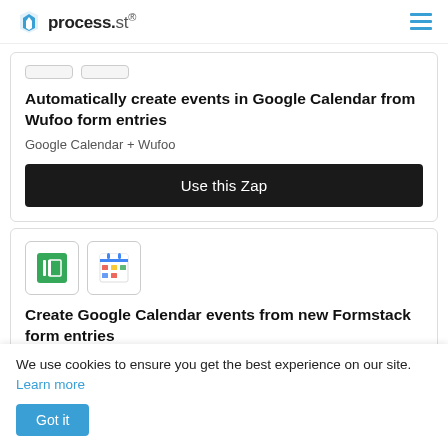process.st
Automatically create events in Google Calendar from Wufoo form entries
Google Calendar + Wufoo
Use this Zap
[Figure (logo): Formstack and Google Calendar icons]
Create Google Calendar events from new Formstack form entries
We use cookies to ensure you get the best experience on our site. Learn more
Got it